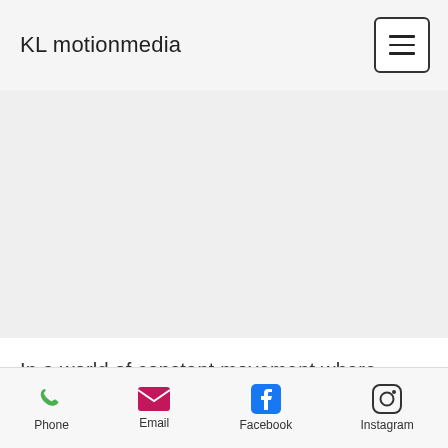KL motionmedia
[Figure (screenshot): Hamburger menu button icon (three horizontal lines) inside a rounded rectangle border]
[Figure (other): Gray empty content area placeholder]
In a world of constant movement where everything seems to go so fast, we often find ourselves caught in the ideas of
[Figure (infographic): Bottom navigation bar with four icons: Phone (green phone icon), Email (pink envelope icon), Facebook (blue Facebook icon), Instagram (black Instagram icon)]